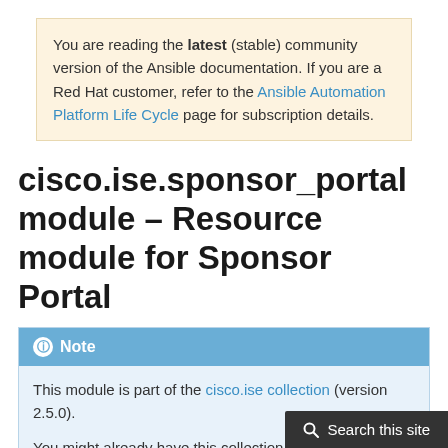You are reading the latest (stable) community version of the Ansible documentation. If you are a Red Hat customer, refer to the Ansible Automation Platform Life Cycle page for subscription details.
cisco.ise.sponsor_portal module – Resource module for Sponsor Portal
Note
This module is part of the cisco.ise collection (version 2.5.0).

You might already have this collection installed if you are using the ansible package. It is...